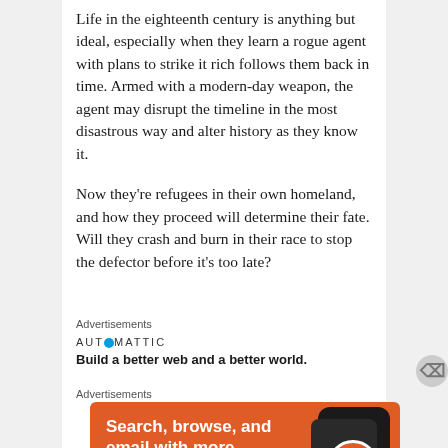Life in the eighteenth century is anything but ideal, especially when they learn a rogue agent with plans to strike it rich follows them back in time. Armed with a modern-day weapon, the agent may disrupt the timeline in the most disastrous way and alter history as they know it.
Now they’re refugees in their own homeland, and how they proceed will determine their fate. Will they crash and burn in their race to stop the defector before it’s too late?
Advertisements
[Figure (other): Automattic advertisement: logo text 'AUT⊙MATTIC' with tagline 'Build a better web and a better world.']
Advertisements
[Figure (other): DuckDuckGo advertisement: orange background with text 'Search, browse, and email with more privacy.' and button 'All in One Free App' with DuckDuckGo logo and phone image.]